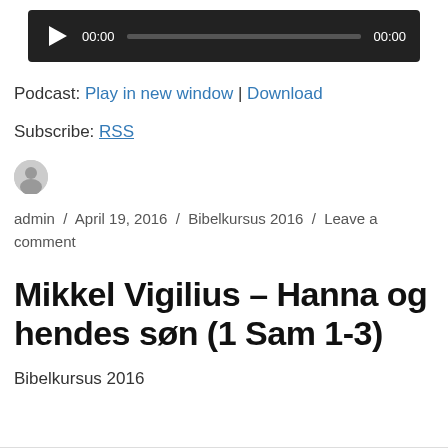[Figure (screenshot): Audio player bar with play button, time display 00:00, progress bar, and end time 00:00 on dark background]
Podcast: Play in new window | Download
Subscribe: RSS
admin / April 19, 2016 / Bibelkursus 2016 / Leave a comment
Mikkel Vigilius – Hanna og hendes søn (1 Sam 1-3)
Bibelkursus 2016